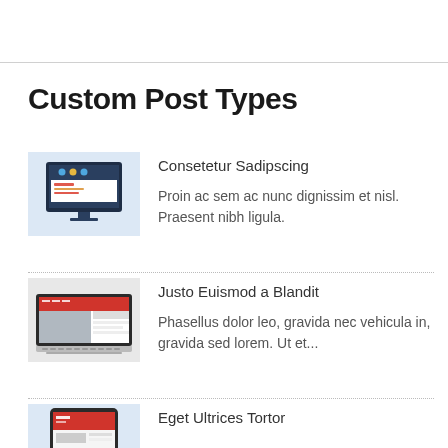Custom Post Types
[Figure (illustration): Monitor/desktop computer showing a website interface with dark header and colored dots]
Consetetur Sadipscing
Proin ac sem ac nunc dignissim et nisl. Praesent nibh ligula.
[Figure (illustration): Laptop computer showing a website with red header and image content]
Justo Euismod a Blandit
Phasellus dolor leo, gravida nec vehicula in, gravida sed lorem. Ut et...
[Figure (illustration): Tablet device showing a website interface with red and white content]
Eget Ultrices Tortor